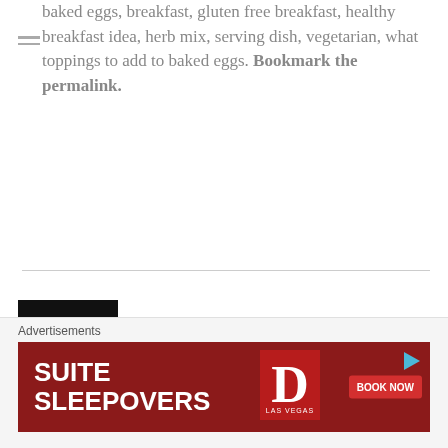baked eggs, breakfast, gluten free breakfast, healthy breakfast idea, herb mix, serving dish, vegetarian, what toppings to add to baked eggs. Bookmark the permalink.
62 Comments  Add yours
Mary on January 12, 2013 at 1:33 AM   Reply   Like
Sounds like where I live, Buffalo, NY! Hope the kids enjoyed playing in the
Advertisements
[Figure (other): Ad banner for Suite Sleepovers at The D Las Vegas with Book Now button]